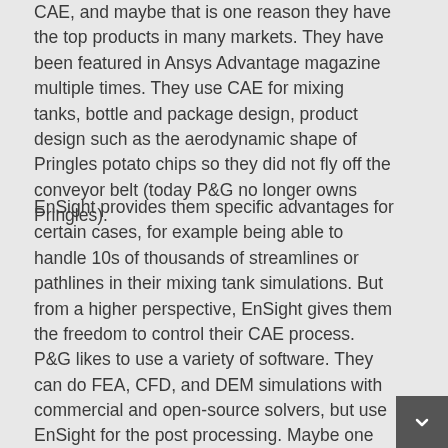CAE, and maybe that is one reason they have the top products in many markets. They have been featured in Ansys Advantage magazine multiple times. They use CAE for mixing tanks, bottle and package design, product design such as the aerodynamic shape of Pringles potato chips so they did not fly off the conveyor belt (today P&G no longer owns Pringles).
EnSight provides them specific advantages for certain cases, for example being able to handle 10s of thousands of streamlines or pathlines in their mixing tank simulations. But from a higher perspective, EnSight gives them the freedom to control their CAE process. P&G likes to use a variety of software. They can do FEA, CFD, and DEM simulations with commercial and open-source solvers, but use EnSight for the post processing. Maybe one engineer knows Star-CCM+ well, so he does the simulations. But if he happens to be too busy to do the post processing for that job, another engineer can use EnSight to do that. They don't have to know Star-CCM+. Or maybe they changed which solver they use for a certain problem. EnSight can load the data from both the d...